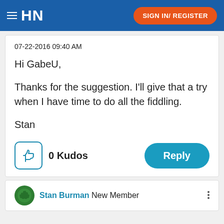HN  SIGN IN/ REGISTER
07-22-2016 09:40 AM
Hi GabeU,
Thanks for the suggestion. I'll give that a try when I have time to do all the fiddling.
Stan
0 Kudos
Stan Burman  New Member